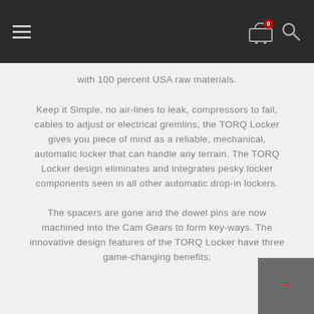Navigation bar with hamburger menu, cart icon (0), and search icon
with 100 percent USA raw materials.
Keep it Simple, no air-lines to leak, compressors to fail, cables to adjust or electrical gremlins, the TORQ Locker gives you piece of mind as a reliable, mechanical, automatic locker that can handle any terrain. The TORQ Locker design eliminates and integrates pesky locker components seen in all other automatic drop-in lockers.
The spacers are gone and the dowel pins are now machined into the Cam Gears to form key-ways. The innovative design features of the TORQ Locker have three game-changing benefits;